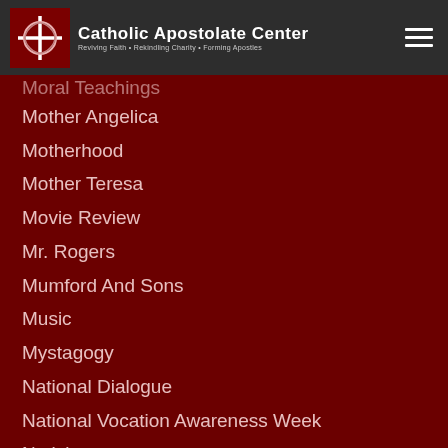Catholic Apostolate Center — Reviving Faith • Rekindling Charity • Forming Apostles
Mother Angelica
Motherhood
Mother Teresa
Movie Review
Mr. Rogers
Mumford And Sons
Music
Mystagogy
National Dialogue
National Vocation Awareness Week
Nativity
Nativity Of Mary
Ncyc
New Evangelization
New Roman Missal
New Years
Nicholas Shields